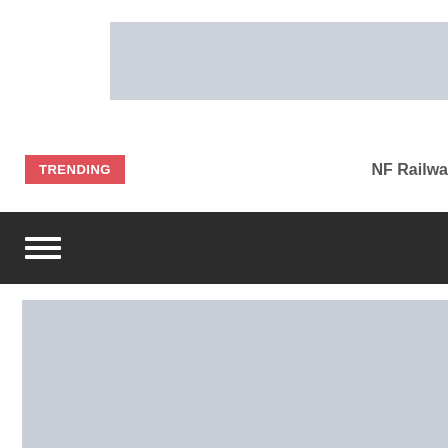[Figure (other): Gray placeholder banner/advertisement rectangle at top of page]
TRENDING
NF Railwa
[Figure (other): Dark navigation bar with hamburger menu icon]
[Figure (photo): Large gray placeholder image below navigation bar]